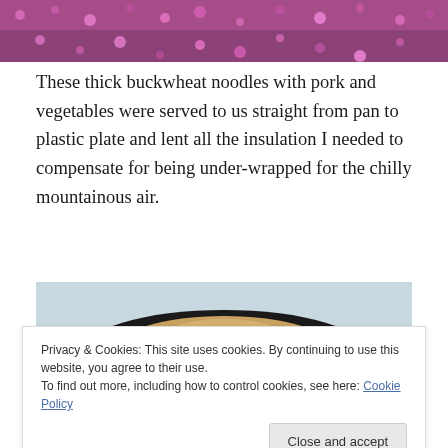[Figure (photo): Top strip photo showing pink/magenta flowers viewed from above]
These thick buckwheat noodles with pork and vegetables were served to us straight from pan to plastic plate and lent all the insulation I needed to compensate for being under-wrapped for the chilly mountainous air.
[Figure (photo): Photo of buckwheat noodles dish in a dark plate with toppings]
Privacy & Cookies: This site uses cookies. By continuing to use this website, you agree to their use.
To find out more, including how to control cookies, see here: Cookie Policy
Close and accept